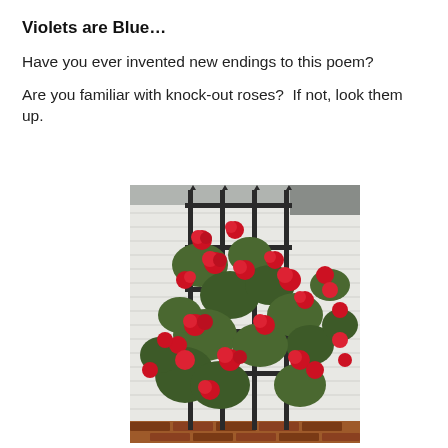Violets are Blue…
Have you ever invented new endings to this poem?
Are you familiar with knock-out roses?  If not, look them up.
[Figure (photo): A photo of red knock-out roses growing on a black metal trellis against a white siding wall of a house, with brick visible at the bottom.]